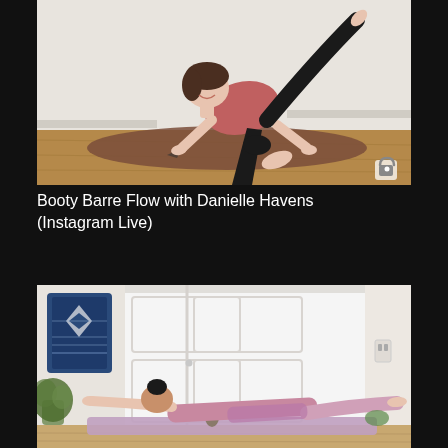[Figure (photo): Woman in pink top and black leggings doing a side kick exercise on hands and knees on a brown yoga mat in a white-walled room. She is smiling and has one leg raised high. A lock icon appears in the bottom right corner of the image.]
Booty Barre Flow with Danielle Havens (Instagram Live)
[Figure (photo): Person in lavender/purple workout outfit performing a prone back extension exercise on a yoga mat in a room with white closet doors, a blue geometric wall hanging, and a plant visible on the left side.]